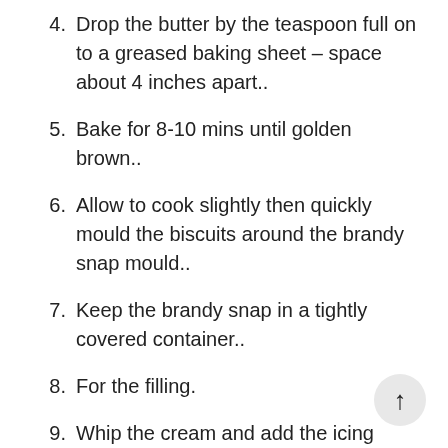4. Drop the butter by the teaspoon full on to a greased baking sheet – space about 4 inches apart..
5. Bake for 8-10 mins until golden brown..
6. Allow to cook slightly then quickly mould the biscuits around the brandy snap mould..
7. Keep the brandy snap in a tightly covered container..
8. For the filling.
9. Whip the cream and add the icing sugar and the brandy.
10. Chop the strawberries (saving one whole one for each snap)